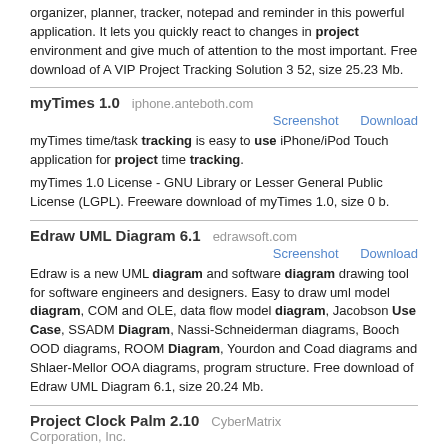organizer, planner, tracker, notepad and reminder in this powerful application. It lets you quickly react to changes in project environment and give much of attention to the most important. Free download of A VIP Project Tracking Solution 3 52, size 25.23 Mb.
myTimes 1.0   iphone.anteboth.com
Screenshot   Download
myTimes time/task tracking is easy to use iPhone/iPod Touch application for project time tracking.
myTimes 1.0 License - GNU Library or Lesser General Public License (LGPL). Freeware download of myTimes 1.0, size 0 b.
Edraw UML Diagram 6.1   edrawsoft.com
Screenshot   Download
Edraw is a new UML diagram and software diagram drawing tool for software engineers and designers. Easy to draw uml model diagram, COM and OLE, data flow model diagram, Jacobson Use Case, SSADM Diagram, Nassi-Schneiderman diagrams, Booch OOD diagrams, ROOM Diagram, Yourdon and Coad diagrams and Shlaer-Mellor OOA diagrams, program structure. Free download of Edraw UML Diagram 6.1, size 20.24 Mb.
Project Clock Palm 2.10   CyberMatrix Corporation, Inc.
Screenshot   Download
Project Clock Palm is an easy to use project time tracking system for Palm handhelds. Project Clock Palm is a useful software package for consultants, lawyers, engineers or any other busy on the go professionals who must keep